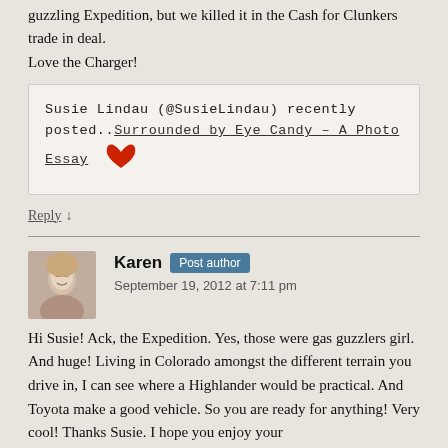guzzling Expedition, but we killed it in the Cash for Clunkers trade in deal.
Love the Charger!
Susie Lindau (@SusieLindau) recently posted..Surrounded by Eye Candy – A Photo Essay
Reply ↓
Karen  Post author
September 19, 2012 at 7:11 pm
Hi Susie! Ack, the Expedition. Yes, those were gas guzzlers girl. And huge! Living in Colorado amongst the different terrain you drive in, I can see where a Highlander would be practical. And Toyota make a good vehicle. So you are ready for anything! Very cool! Thanks Susie. I hope you enjoy your